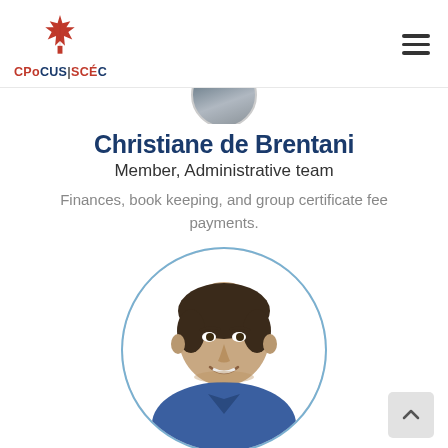[Figure (logo): CPoCUS|SCÉC organization logo with red maple leaf graphic and text 'CPoCUS|SCÉC']
[Figure (photo): Partial circular profile photo at top of page, cropped at top edge]
Christiane de Brentani
Member, Administrative team
Finances, book keeping, and group certificate fee payments.
[Figure (photo): Circular framed portrait photo of a smiling man in a blue shirt, dark hair, inside a thin blue circular border]
[Figure (other): Back-to-top button with upward chevron arrow in light grey rounded rectangle, bottom right corner]